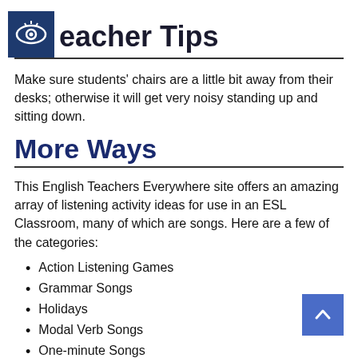Teacher Tips
Make sure students' chairs are a little bit away from their desks; otherwise it will get very noisy standing up and sitting down.
More Ways
This English Teachers Everywhere site offers an amazing array of listening activity ideas for use in an ESL Classroom, many of which are songs. Here are a few of the categories:
Action Listening Games
Grammar Songs
Holidays
Modal Verb Songs
One-minute Songs